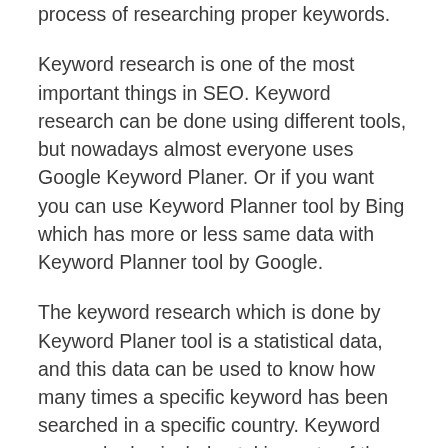The first step in Search Engine Optimization is the process of researching proper keywords.
Keyword research is one of the most important things in SEO. Keyword research can be done using different tools, but nowadays almost everyone uses Google Keyword Planer. Or if you want you can use Keyword Planner tool by Bing which has more or less same data with Keyword Planner tool by Google.
The keyword research which is done by Keyword Planer tool is a statistical data, and this data can be used to know how many times a specific keyword has been searched in a specific country. Keyword research also includes taking note of the competition for each Keyword which you have found after doing Keyword Research.
The Keywords research tools find Keywords which